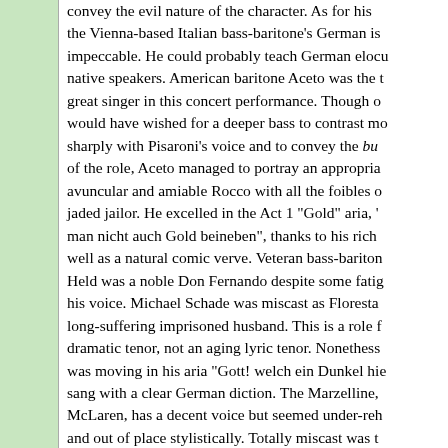convey the evil nature of the character. As for his the Vienna-based Italian bass-baritone's German is impeccable. He could probably teach German elocu native speakers. American baritone Aceto was the t great singer in this concert performance. Though o would have wished for a deeper bass to contrast mo sharply with Pisaroni's voice and to convey the bu of the role, Aceto managed to portray an appropria avuncular and amiable Rocco with all the foibles o jaded jailor. He excelled in the Act 1 "Gold" aria, ' man nicht auch Gold beineben", thanks to his rich well as a natural comic verve. Veteran bass-bariton Held was a noble Don Fernando despite some fatig his voice. Michael Schade was miscast as Floresta long-suffering imprisoned husband. This is a role f dramatic tenor, not an aging lyric tenor. Nonethess was moving in his aria "Gott! welch ein Dunkel hie sang with a clear German diction. The Marzelline, McLaren, has a decent voice but seemed under-reh and out of place stylistically. Totally miscast was t Jean-Michel Richer as Jaquino, whose voice is too for this lyric tenor role. The diction of the latter tw atrocious. The first act quartet "Mir ist so wunderb glorious moment in the Mozartian style, akin to Co tutte's Trio "Soave sia il vento." Sadly, with a wea Jaquino and an average Marzelline, it was nowhere to that.
L'Orchestre Métropolitain was well rehearsed and